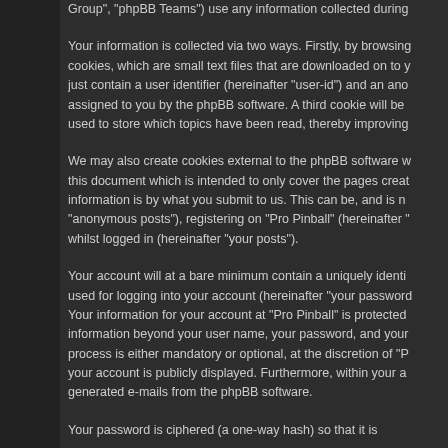Group", "phpBB Teams") use any information collected during
Your information is collected via two ways. Firstly, by browsing cookies, which are small text files that are downloaded on to y just contain a user identifier (hereinafter “user-id”) and an ano assigned to you by the phpBB software. A third cookie will be used to store which topics have been read, thereby improving
We may also create cookies external to the phpBB software w this document which is intended to only cover the pages creat information is by what you submit to us. This can be, and is n“anonymous posts”), registering on “Pro Pinball” (hereinafter “ whilst logged in (hereinafter “your posts”).
Your account will at a bare minimum contain a uniquely identi used for logging into your account (hereinafter “your password Your information for your account at “Pro Pinball” is protected information beyond your user name, your password, and your process is either mandatory or optional, at the discretion of “P your account is publicly displayed. Furthermore, within your a generated e-mails from the phpBB software.
Your password is ciphered (a one-way hash) so that it is